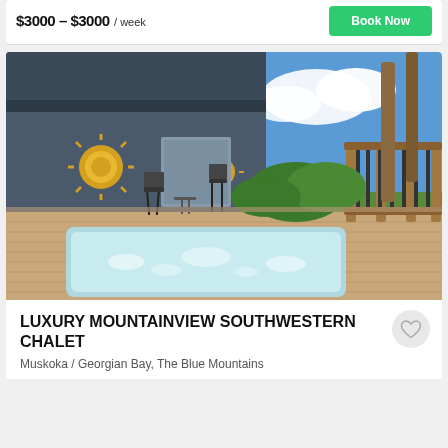$3000 – $3000 / week
[Figure (photo): Outdoor deck of a chalet with a large hot tub/jacuzzi inset into the wooden deck, sun ornaments on blue-grey siding wall, patio chairs and table, wooden railing, tall trees and blue sky in background.]
LUXURY MOUNTAINVIEW SOUTHWESTERN CHALET
Muskoka / Georgian Bay, The Blue Mountains